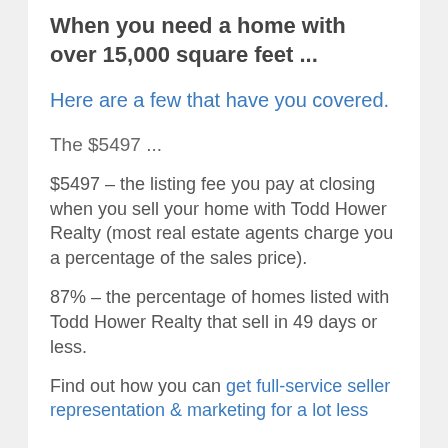When you need a home with over 15,000 square feet ...
Here are a few that have you covered.
The $5497 ...
$5497 – the listing fee you pay at closing when you sell your home with Todd Hower Realty (most real estate agents charge you a percentage of the sales price).
87% – the percentage of homes listed with Todd Hower Realty that sell in 49 days or less.
Find out how you can get full-service seller representation & marketing for a lot less